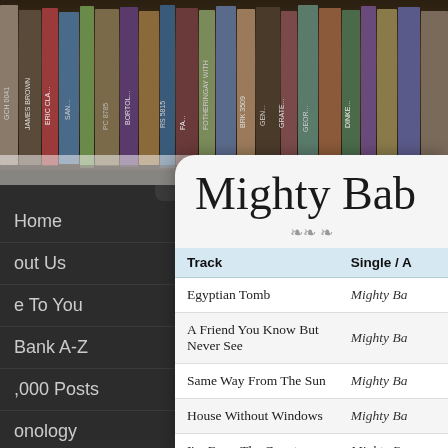[Figure (photo): Bookshelf background photo showing rows of book spines at the top of the page]
Mighty Bab
Home
About Us
Free To You
Song Bank A-Z
1,000 Posts
Chronology
| Track | Single / A... |
| --- | --- |
| Egyptian Tomb | Mighty Ba... |
| A Friend You Know But Never See | Mighty Ba... |
| Same Way From The Sun | Mighty Ba... |
| House Without Windows | Mighty Ba... |
| I'm From The Country | Mighty Ba... |
| The Happiest Man In The Carnival | A Jug Of ... |